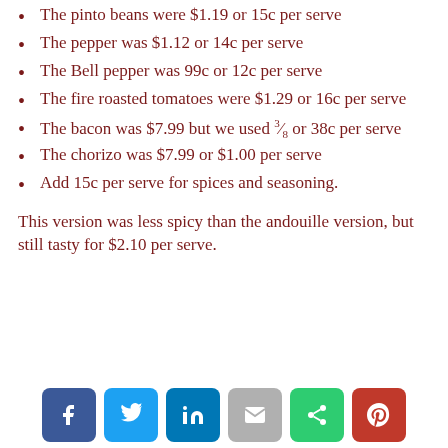The pinto beans were $1.19 or 15c per serve
The pepper was $1.12 or 14c per serve
The Bell pepper was 99c or 12c per serve
The fire roasted tomatoes were $1.29 or 16c per serve
The bacon was $7.99 but we used ⅜ or 38c per serve
The chorizo was $7.99 or $1.00 per serve
Add 15c per serve for spices and seasoning.
This version was less spicy than the andouille version, but still tasty for $2.10 per serve.